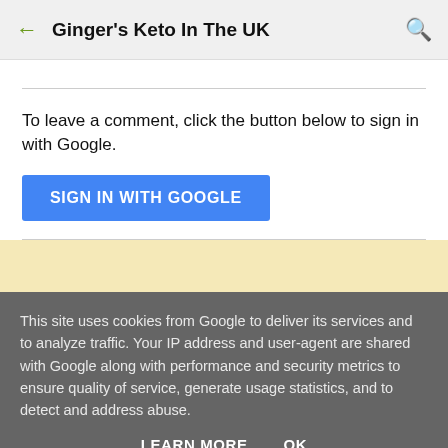Ginger's Keto In The UK
To leave a comment, click the button below to sign in with Google.
SIGN IN WITH GOOGLE
This site uses cookies from Google to deliver its services and to analyze traffic. Your IP address and user-agent are shared with Google along with performance and security metrics to ensure quality of service, generate usage statistics, and to detect and address abuse.
LEARN MORE   OK